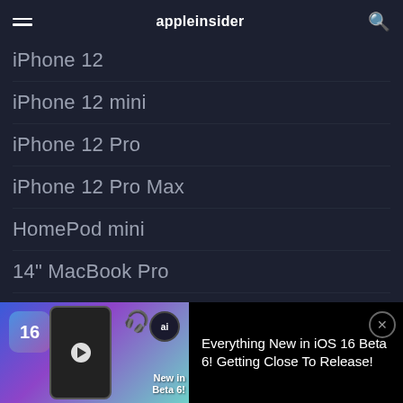appleinsider
iPhone 12
iPhone 12 mini
iPhone 12 Pro
iPhone 12 Pro Max
HomePod mini
14" MacBook Pro
Apple Watch 6
iPad Air
[Figure (screenshot): Advertisement banner showing iOS 16 badge, phone mockup with play button, earbuds, and ai logo overlay on a purple-teal gradient background. Text reads 'New in Beta 6!']
Everything New in iOS 16 Beta 6! Getting Close To Release!